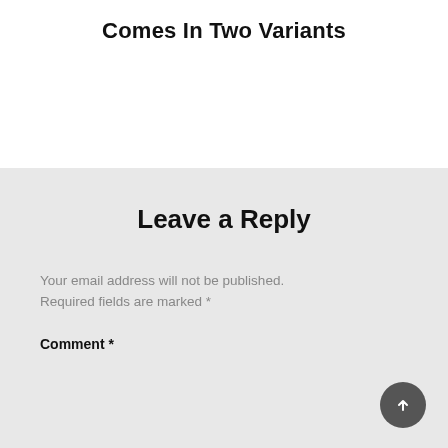Comes In Two Variants
Leave a Reply
Your email address will not be published. Required fields are marked *
Comment *